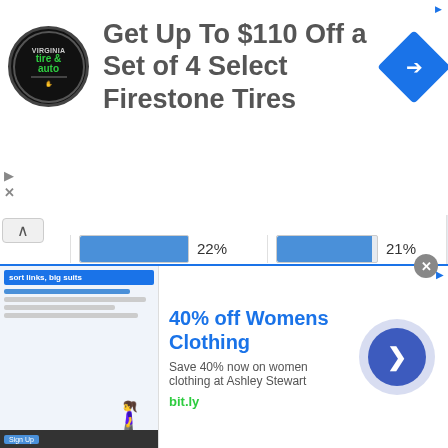[Figure (screenshot): Advertisement banner: Firestone tire ad showing logo and headline 'Get Up To $110 Off a Set of 4 Select Firestone Tires' with blue arrow icon]
[Figure (bar-chart): Data table with horizontal bar charts showing percentages across multiple rows and columns. Values visible: 22%, 21%, 1%, 1%, 18%, 18%, 4%, 4%, 17%, 11%, 1%, 1%, 6%, 11%, 21%, 20%. Row labels (partial): ol, eted, degree, gree]
[Figure (screenshot): Advertisement banner: '40% off Womens Clothing - Save 40% now on women clothing at Ashley Stewart - bit.ly' with image of woman and CTA button]